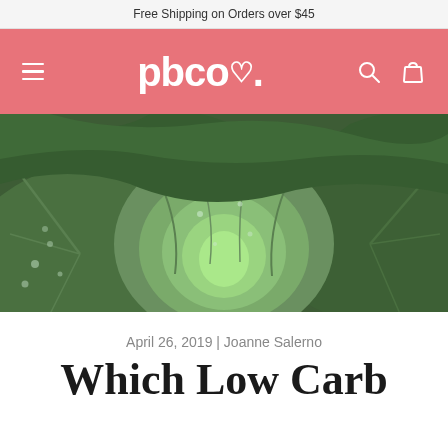Free Shipping on Orders over $45
[Figure (logo): pbco. logo in white on salmon/pink navigation bar with hamburger menu, search icon, and bag icon]
[Figure (photo): Close-up photograph of a green cabbage head with dew drops on the leaves]
April 26, 2019 | Joanne Salerno
Which Low Carb